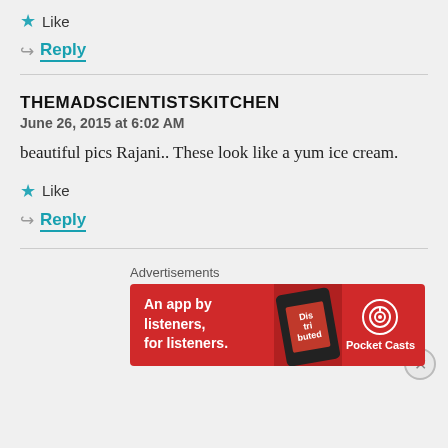★ Like
↳ Reply
THEMADSCIENTISTSKITCHEN
June 26, 2015 at 6:02 AM
beautiful pics Rajani.. These look like a yum ice cream.
★ Like
↳ Reply
Advertisements
[Figure (screenshot): Pocket Casts advertisement banner: red background with phone graphic showing 'Dis tri buted' text and Pocket Casts logo. Text reads 'An app by listeners, for listeners.']